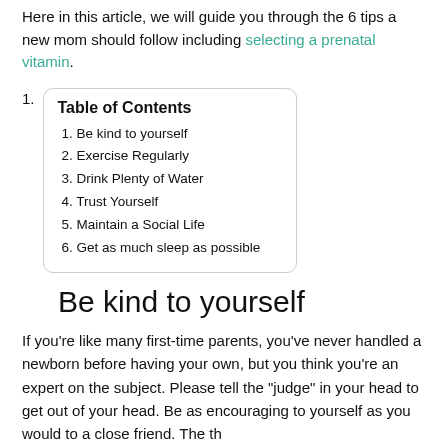Here in this article, we will guide you through the 6 tips a new mom should follow including selecting a prenatal vitamin.
Table of Contents
1. Be kind to yourself
2. Exercise Regularly
3. Drink Plenty of Water
4. Trust Yourself
5. Maintain a Social Life
6. Get as much sleep as possible
Be kind to yourself
If you're like many first-time parents, you've never handled a newborn before having your own, but you think you're an expert on the subject. Please tell the "judge" in your head to get out of your head. Be as encouraging to yourself as you would to a close friend. The th...